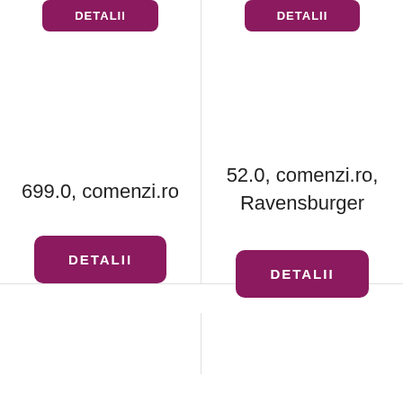[Figure (screenshot): Purple DETALII button at top of left column (partially visible)]
[Figure (screenshot): Purple DETALII button at top of right column (partially visible)]
699.0, comenzi.ro
[Figure (other): Purple DETALII button in left column]
52.0, comenzi.ro, Ravensburger
[Figure (other): Purple DETALII button in right column]